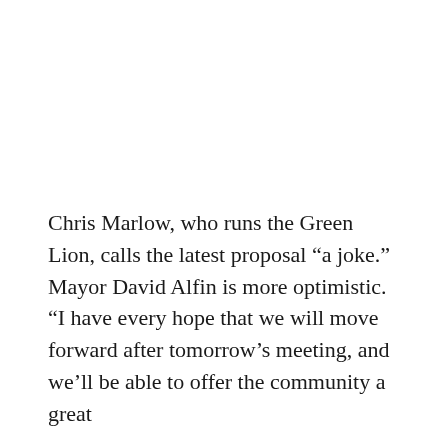Chris Marlow, who runs the Green Lion, calls the latest proposal “a joke.” Mayor David Alfin is more optimistic. “I have every hope that we will move forward after tomorrow’s meeting, and we’ll be able to offer the community a great